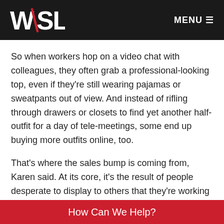WSL  MENU
So when workers hop on a video chat with colleagues, they often grab a professional-looking top, even if they're still wearing pajamas or sweatpants out of view. And instead of rifling through drawers or closets to find yet another half-outfit for a day of tele-meetings, some end up buying more outfits online, too.
That's where the sales bump is coming from, Karen said. At its core, it's the result of people desperate to display to others that they're working hard, and to find comfort and control in a new routine that could last — indefinitely — out of time.
How Can We Help?